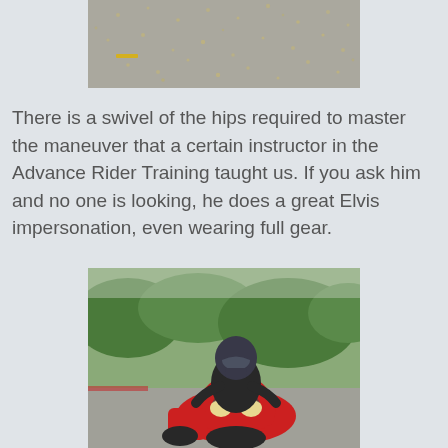[Figure (photo): Top portion of a photo showing a road/parking lot surface with scattered small debris (leaves, pebbles) and a yellow road marking line visible on asphalt]
There is a swivel of the hips required to master the maneuver that a certain instructor in the Advance Rider Training taught us. If you ask him and no one is looking, he does a great Elvis impersonation, even wearing full gear.
[Figure (photo): A motorcyclist wearing full black gear and a dark helmet riding a red sport-touring motorcycle (with red saddlebag visible) in a parking lot with trees in the background]